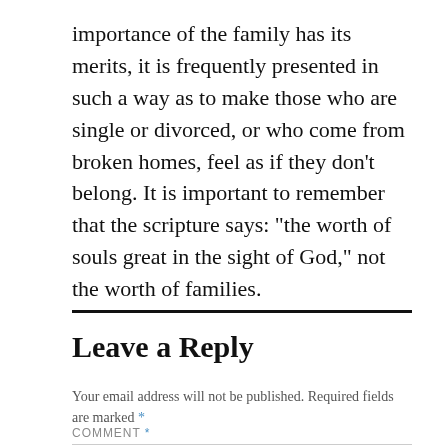importance of the family has its merits, it is frequently presented in such a way as to make those who are single or divorced, or who come from broken homes, feel as if they don't belong. It is important to remember that the scripture says: “the worth of souls great in the sight of God,” not the worth of families.
Leave a Reply
Your email address will not be published. Required fields are marked *
COMMENT *